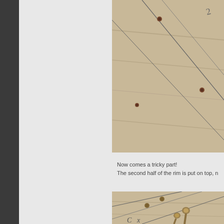[Figure (photo): Close-up photo of wooden board with metal nails/tacks and pencil lines drawn on it, seen at an angle. Beige/tan colored wood surface with small round-headed copper or brown nails and hand-drawn lines.]
Now comes a tricky part!
The second half of the rim is put on top, n
[Figure (photo): Close-up photo of wooden board with metal nails and pencil lines. Several larger brass/bronze nails or pins are visible protruding from the surface alongside pencil markings including letters C and X.]